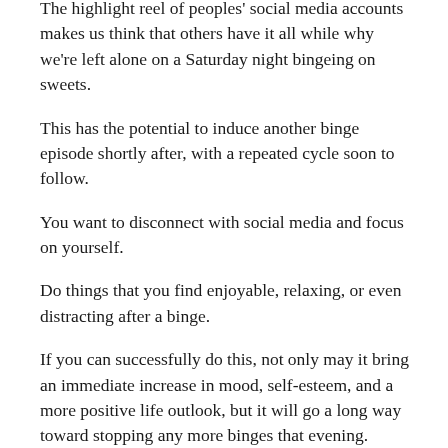The highlight reel of peoples' social media accounts makes us think that others have it all while why we're left alone on a Saturday night bingeing on sweets.
This has the potential to induce another binge episode shortly after, with a repeated cycle soon to follow.
You want to disconnect with social media and focus on yourself.
Do things that you find enjoyable, relaxing, or even distracting after a binge.
If you can successfully do this, not only may it bring an immediate increase in mood, self-esteem, and a more positive life outlook, but it will go a long way toward stopping any more binges that evening.
4. Do not turn to methods of